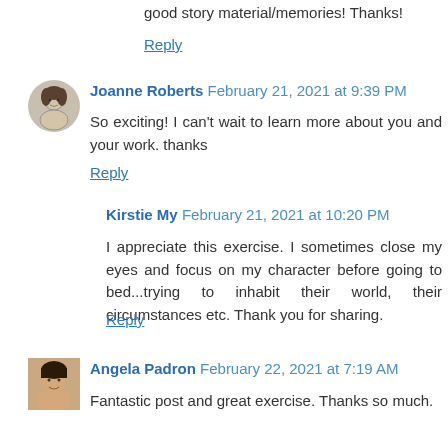good story material/memories! Thanks!
Reply
[Figure (illustration): Avatar of Joanne Roberts — small circular portrait sketch of a woman]
Joanne Roberts February 21, 2021 at 9:39 PM
So exciting! I can't wait to learn more about you and your work. thanks
Reply
Kirstie My February 21, 2021 at 10:20 PM
I appreciate this exercise. I sometimes close my eyes and focus on my character before going to bed...trying to inhabit their world, their circumstances etc. Thank you for sharing.
Reply
[Figure (photo): Avatar of Angela Padron — small square photo of a woman with dark hair]
Angela Padron February 22, 2021 at 7:19 AM
Fantastic post and great exercise. Thanks so much.